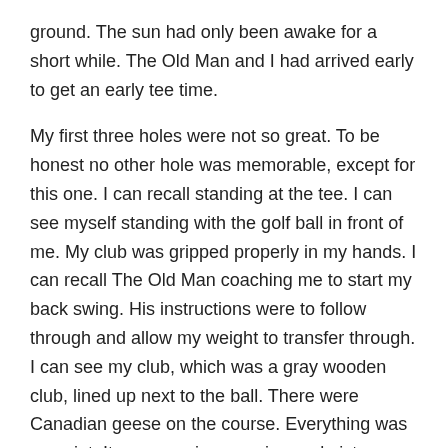ground. The sun had only been awake for a short while. The Old Man and I had arrived early to get an early tee time.
My first three holes were not so great. To be honest no other hole was memorable, except for this one. I can recall standing at the tee. I can see myself standing with the golf ball in front of me. My club was gripped properly in my hands. I can recall The Old Man coaching me to start my back swing. His instructions were to follow through and allow my weight to transfer through. I can see my club, which was a gray wooden club, lined up next to the ball. There were Canadian geese on the course. Everything was so quiet. It was a spring morning and picture perfect. The sky had a shade of orange and purple hue.
I began my back swing with my eyes focused diagonally